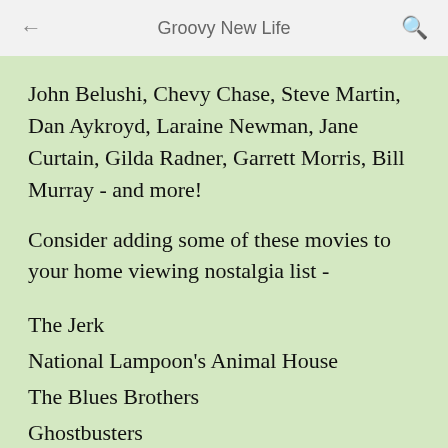Groovy New Life
John Belushi, Chevy Chase, Steve Martin, Dan Aykroyd, Laraine Newman, Jane Curtain, Gilda Radner, Garrett Morris, Bill Murray - and more!
Consider adding some of these movies to your home viewing nostalgia list -
The Jerk
National Lampoon's Animal House
The Blues Brothers
Ghostbusters
Caddy Shack